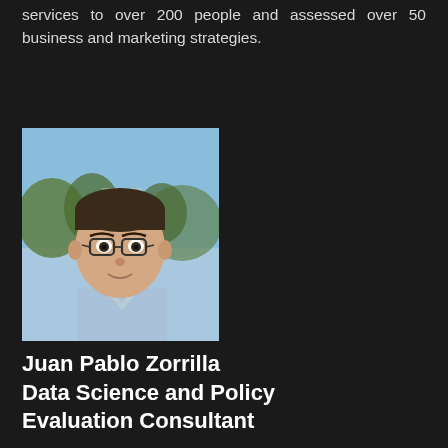services to over 200 people and assessed over 50 business and marketing strategies.
[Figure (photo): Headshot photo of Juan Pablo Zorrilla, a man wearing glasses and a light blue shirt, outdoors with trees visible in background.]
Juan Pablo Zorrilla
Data Science and Policy Evaluation Consultant
Degree in Economics from the Universidad Veracruzana (Mexico). PhD in Economics from the University of La Laguna (Spain) in the area of Economic Analysis and with a specialty in Financial Economics. Currently, he is completing a Master's Degree in Public Policy at the University